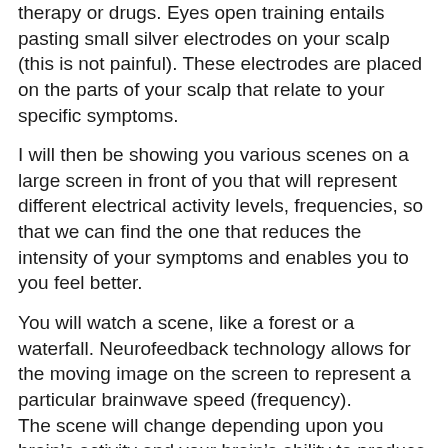therapy or drugs. Eyes open training entails pasting small silver electrodes on your scalp (this is not painful). These electrodes are placed on the parts of your scalp that relate to your specific symptoms.
I will then be showing you various scenes on a large screen in front of you that will represent different electrical activity levels, frequencies, so that we can find the one that reduces the intensity of your symptoms and enables you to you feel better.
You will watch a scene, like a forest or a waterfall. Neurofeedback technology allows for the moving image on the screen to represent a particular brainwave speed (frequency).
The scene will change depending upon you brain's activity and your brain's ability to produce a desired frequency. These screen changes are one form of feedback to your brain.